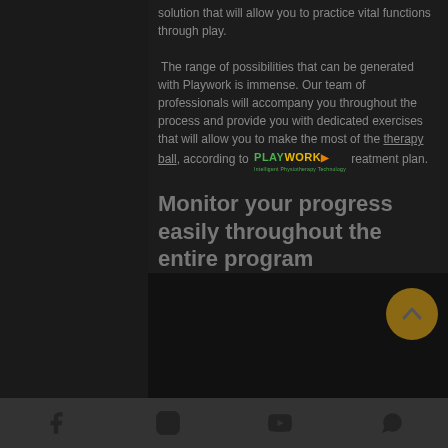solution that will allow you to practice vital functions through play.
The range of possibilities that can be generated with Playwork is immense. Our team of professionals will accompany you throughout the process and provide you with dedicated exercises that will allow you to make the most of the therapy ball, according to [PLAYWORK] treatment plan.
[Figure (logo): Playwork logo: green PLAY text, yellow WORK text, orange arrow, subtitle Intelligent Physiotherapy Technology]
Monitor your progress easily throughout the entire program
[Figure (other): Circular brown scroll-to-top button with upward chevron arrow icon]
Social media icons: Facebook, Instagram, YouTube, WhatsApp